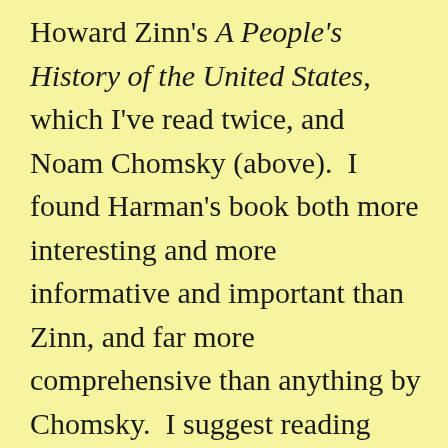Howard Zinn's A People's History of the United States, which I've read twice, and Noam Chomsky (above).  I found Harman's book both more interesting and more informative and important than Zinn, and far more comprehensive than anything by Chomsky.  I suggest reading some reviews on Amazon to get the opinion in respect of the